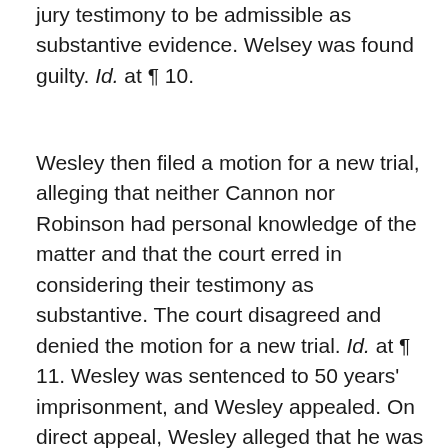jury testimony to be admissible as substantive evidence. Welsey was found guilty. Id. at ¶ 10.
Wesley then filed a motion for a new trial, alleging that neither Cannon nor Robinson had personal knowledge of the matter and that the court erred in considering their testimony as substantive. The court disagreed and denied the motion for a new trial. Id. at ¶ 11. Wesley was sentenced to 50 years' imprisonment, and Wesley appealed. On direct appeal, Wesley alleged that he was deprived his right to a fair trial and his right to counsel because the court decided the case before the presentation of closing arguments. The appellate court affirmed the circuit court's ruling, finding that the court acknowledged its error, permitted the parties to give closing arguments, and reconsidered everything in light of